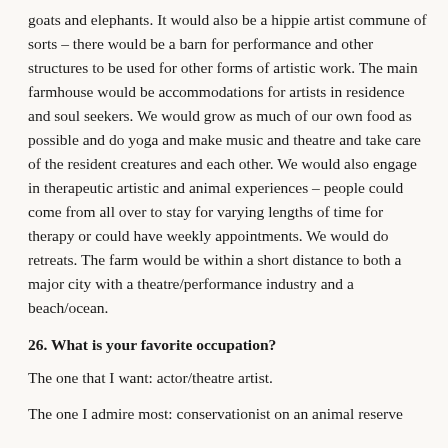goats and elephants. It would also be a hippie artist commune of sorts – there would be a barn for performance and other structures to be used for other forms of artistic work. The main farmhouse would be accommodations for artists in residence and soul seekers. We would grow as much of our own food as possible and do yoga and make music and theatre and take care of the resident creatures and each other. We would also engage in therapeutic artistic and animal experiences – people could come from all over to stay for varying lengths of time for therapy or could have weekly appointments. We would do retreats. The farm would be within a short distance to both a major city with a theatre/performance industry and a beach/ocean.
26. What is your favorite occupation?
The one that I want: actor/theatre artist.
The one I admire most: conservationist on an animal reserve